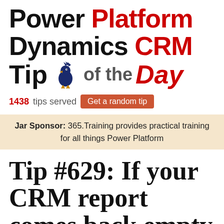Power Platform Dynamics CRM Tip of the Day
1438 tips served   Get a random tip
Jar Sponsor: 365.Training provides practical training for all things Power Platform
Tip #629: If your CRM report comes back empty